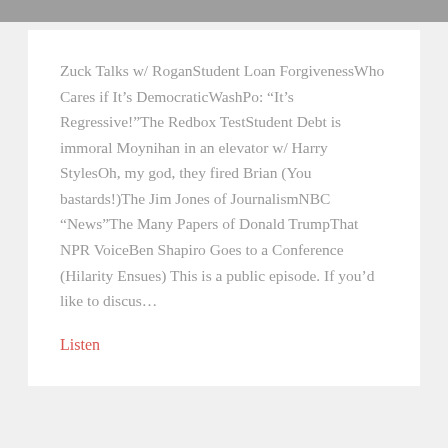Zuck Talks w/ RoganStudent Loan ForgivenessWho Cares if It’s DemocraticWashPo: “It’s Regressive!”The Redbox TestStudent Debt is immoral Moynihan in an elevator w/ Harry StylesOh, my god, they fired Brian (You bastards!)The Jim Jones of JournalismNBC “News”The Many Papers of Donald TrumpThat NPR VoiceBen Shapiro Goes to a Conference (Hilarity Ensues) This is a public episode. If you’d like to discus…
Listen